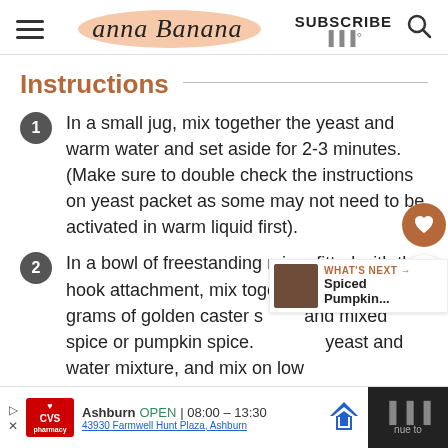Anna Banana — SUBSCRIBE
Instructions
In a small jug, mix together the yeast and warm water and set aside for 2-3 minutes. (Make sure to double check the instructions on yeast packet as some may not need to be activated in warm liquid first).
In a bowl of freestanding mixer fitted with the hook attachment, mix together the flour, 25 grams of golden caster sugar and mixed spice or pumpkin spice. Add the yeast and water mixture, and mix on low